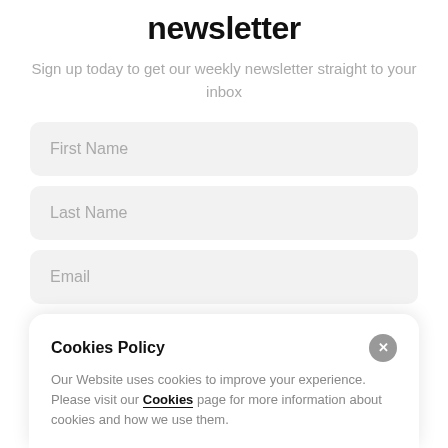newsletter
Sign up today to get our weekly newsletter straight to your inbox
First Name
Last Name
Email
Subscribe
Cookies Policy
Our Website uses cookies to improve your experience. Please visit our Cookies page for more information about cookies and how we use them.